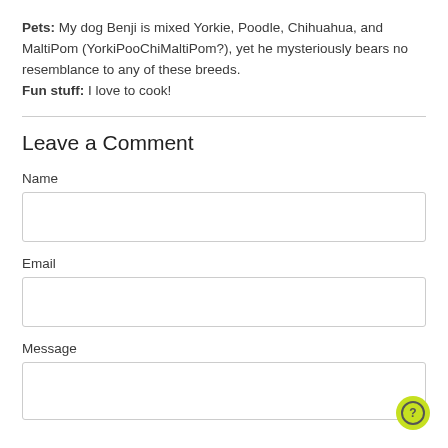Pets: My dog Benji is mixed Yorkie, Poodle, Chihuahua, and MaltiPom (YorkiPooChiMaltiPom?), yet he mysteriously bears no resemblance to any of these breeds. Fun stuff: I love to cook!
Leave a Comment
Name
Email
Message